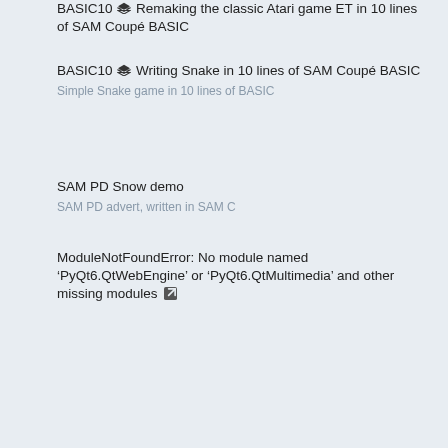BASIC10 🗂 Remaking the classic Atari game ET in 10 lines of SAM Coupé BASIC
BASIC10 🗂 Writing Snake in 10 lines of SAM Coupé BASIC
Simple Snake game in 10 lines of BASIC
SAM PD Snow demo
SAM PD advert, written in SAM C
ModuleNotFoundError: No module named 'PyQt6.QtWebEngine' or 'PyQt6.QtMultimedia' and other missing modules ↗